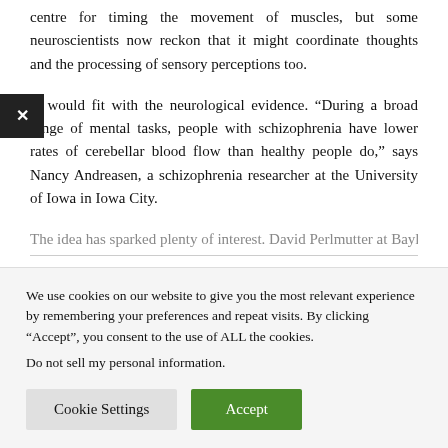centre for timing the movement of muscles, but some neuroscientists now reckon that it might coordinate thoughts and the processing of sensory perceptions too.
at would fit with the neurological evidence. “During a broad range of mental tasks, people with schizophrenia have lower rates of cerebellar blood flow than healthy people do,” says Nancy Andreasen, a schizophrenia researcher at the University of Iowa in Iowa City.
The idea has sparked plenty of interest. David Perlmutter at Baylor...
We use cookies on our website to give you the most relevant experience by remembering your preferences and repeat visits. By clicking “Accept”, you consent to the use of ALL the cookies.
Do not sell my personal information.